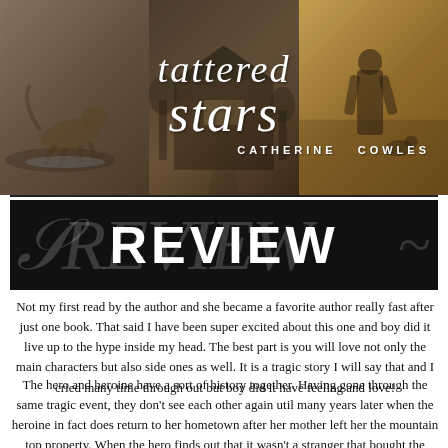[Figure (illustration): Book cover for 'Tattered Stars' by Catherine Cowles. Three-panel photographic cover: left panel shows a dog running, center panel shows a rural building/landscape, right panel shows a man from behind with a dog in a field. White script title 'tattered stars' overlaid on top of all three panels, with author name 'CATHERINE COWLES' in small caps.]
[Figure (illustration): Black banner with the word REVIEW in large bold white uppercase letters, with decorative italic script overlaid behind and around it.]
Not my first read by the author and she became a favorite author really fast after just one book. That said I have been super excited about this one and boy did it live up to the hype inside my head. The best part is you will love not only the main characters but also side ones as well. It is a tragic story I will say that and I cried many time through out but boy did it have feeling and love!
The hero and heroine have a sort of history together. Having gone through the same tragic event, they don't see each other again util many years later when the heroine in fact does return to her hometown after her mother left her the mountain top property. When the hero finds out that it wasn't a stranger that bought the house in hopes to demolish it and starts fresh, but the owner's daughter was a shock to